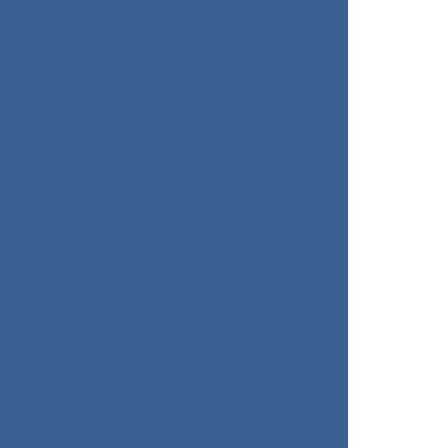| Range |
| --- |
| 0 - 10 |
| 10 - 20 |
| 20 - 30 |
| 30 - 40 |
| 40 - 50 |
| 50 - 60 |
| 60 - 70 |
| 70 - 80 |
| 80 - 90 |
| 110 - 120 |
| above 130 |
Results for mixed water (ground water and surface water) system sum...
EPA Home | Privacy and S... https://archive.epa.gov/en... Pri...